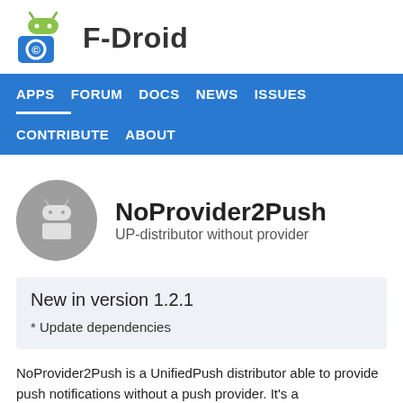[Figure (logo): F-Droid logo with green Android robot head above a blue square with circular arrow icon, followed by bold text 'F-Droid']
APPS   FORUM   DOCS   NEWS   ISSUES   CONTRIBUTE   ABOUT
[Figure (logo): NoProvider2Push app icon: gray circle with white Android robot body]
NoProvider2Push
UP-distributor without provider
New in version 1.2.1
* Update dependencies
NoProvider2Push is a UnifiedPush distributor able to provide push notifications without a push provider. It's a